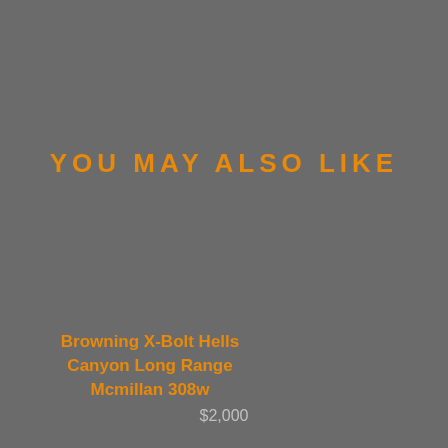YOU MAY ALSO LIKE
Browning X-Bolt Hells Canyon Long Range Mcmillan 308w
$2,000